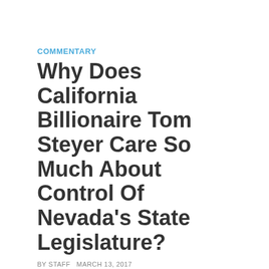COMMENTARY
Why Does California Billionaire Tom Steyer Care So Much About Control Of Nevada's State Legislature?
BY STAFF MARCH 13, 2017
[Figure (other): Social share buttons: Facebook Share (0), Twitter Tweet (0), Email (0)]
Western Wire's Simon Lomax explored the
Embed from Getty Images